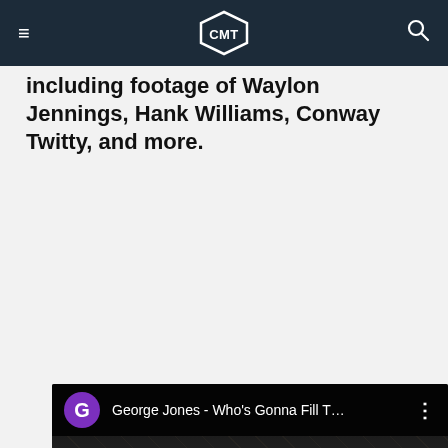CMT navigation header
including footage of Waylon Jennings, Hank Williams, Conway Twitty, and more.
[Figure (screenshot): Embedded YouTube video player showing George Jones - Who's Gonna Fill T... with a darkened thumbnail of a man, a red play button in the center, and the Vevo logo in the lower left. The YouTube header shows a purple 'G' avatar and the video title.]